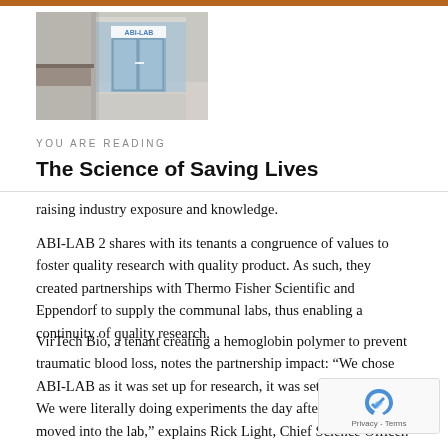[Figure (photo): Photo of ABI-LAB building entrance with glass doors and ABI-LAB signage]
YOU ARE READING
The Science of Saving Lives
raising industry exposure and knowledge.
ABI-LAB 2 shares with its tenants a congruence of values to foster quality research with quality product. As such, they created partnerships with Thermo Fisher Scientific and Eppendorf to supply the communal labs, thus enabling a continuity of quality research.
VirTech Bio, a tenant creating a hemoglobin polymer to prevent traumatic blood loss, notes the partnership impact: “We chose ABI-LAB as it was set up for research, it was set up for science. We were literally doing experiments the day after our first box moved into the lab,” explains Rick Light, Chief Science Officer. ABI encourages exploration, experimentation, rapid learning and failures, while promoting a communal setting with shared equipment, and collaborative partnerships, mentorship and, at times, financing